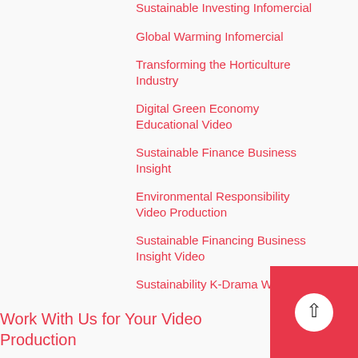Sustainable Investing Infomercial
Global Warming Infomercial
Transforming the Horticulture Industry
Digital Green Economy Educational Video
Sustainable Finance Business Insight
Environmental Responsibility Video Production
Sustainable Financing Business Insight Video
Sustainability K-Drama Webseries
Work With Us for Your Video Production